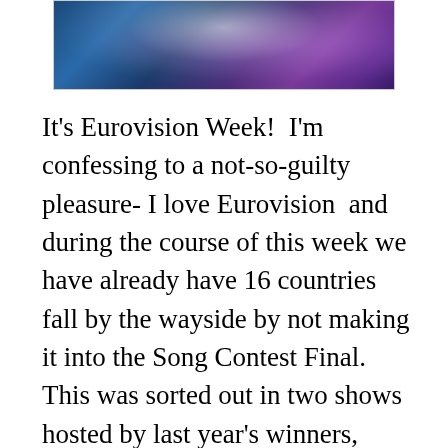[Figure (photo): Blue and purple blurred bokeh/abstract image, possibly a Eurovision logo or stage lighting effect, partially visible at top of page]
It's Eurovision Week!  I'm confessing to a not-so-guilty pleasure- I love Eurovision  and during the course of this week we have already have 16 countries fall by the wayside by not making it into the Song Contest Final.  This was sorted out in two shows hosted by last year's winners, Sweden.  This is good news.  Sweden do Eurovision very well.  They are up there with Ireland with the most wins and they are happy to stage it and treat the whole thing with the appropriate amount of respect and tongue-in-cheekness which the enterprise deserves.  This year we see the return of Petra Mede as main presenter.  She is up there for the title of Queen Of Eurovision from her past appearances.  She deserves the title.